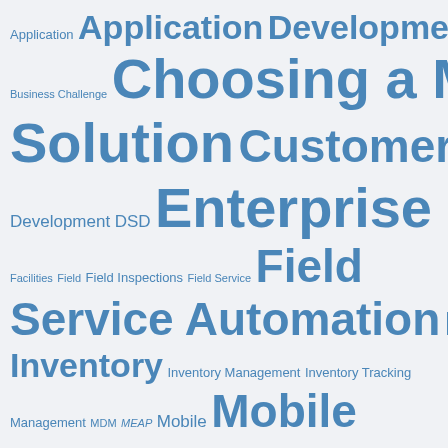[Figure (infographic): Word cloud with mobile/enterprise technology terms in varying sizes of blue text on light gray background. Larger words indicate higher frequency: Application Development, Choosing a Mobile Solution, Customer Wins, Enterprise Mobility, Field Service Automation, Inspection, Mobile Applications, Mobile Field Service, MobileFrame, Mobile Work, etc.]